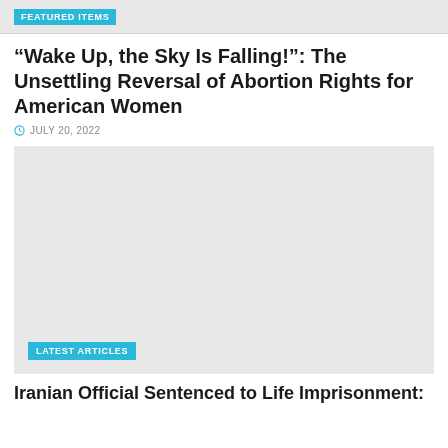FEATURED ITEMS
“Wake Up, the Sky Is Falling!”: The Unsettling Reversal of Abortion Rights for American Women
JULY 20, 2022
[Figure (photo): Large gray placeholder image area]
LATEST ARTICLES
Iranian Official Sentenced to Life Imprisonment: